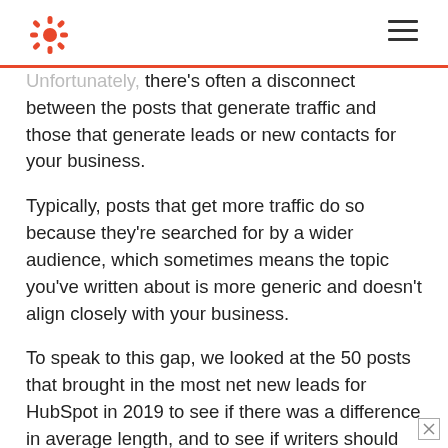HubSpot logo and navigation
Unfortunately, there's often a disconnect between the posts that generate traffic and those that generate leads or new contacts for your business.
Typically, posts that get more traffic do so because they're searched for by a wider audience, which sometimes means the topic you've written about is more generic and doesn't align closely with your business.
To speak to this gap, we looked at the 50 posts that brought in the most net new leads for HubSpot in 2019 to see if there was a difference in average length, and to see if writers should adjust post length for posts writt